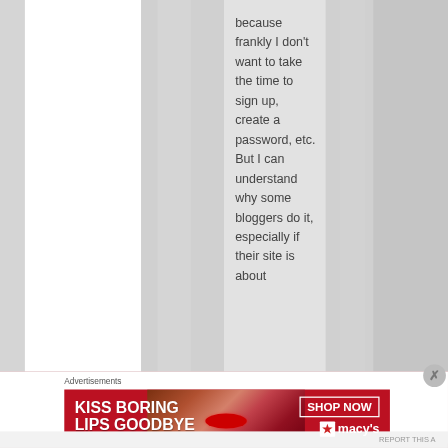because frankly I don't want to take the time to sign up, create a password, etc. But I can understand why some bloggers do it, especially if their site is about
Advertisements
[Figure (photo): Macy's advertisement banner: red background with woman's face showing red lips, text 'KISS BORING LIPS GOODBYE' on left and 'SHOP NOW' button with Macy's star logo on right]